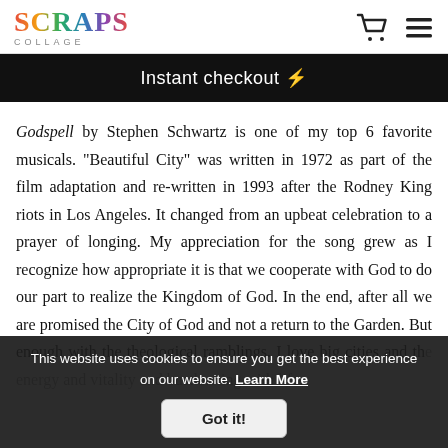SCRAPS COLLAGE
Instant checkout ⚡
Godspell by Stephen Schwartz is one of my top 6 favorite musicals. "Beautiful City" was written in 1972 as part of the film adaptation and re-written in 1993 after the Rodney King riots in Los Angeles. It changed from an upbeat celebration to a prayer of longing. My appreciation for the song grew as I recognize how appropriate it is that we cooperate with God to do our part to realize the Kingdom of God. In the end, after all we are promised the City of God and not a return to the Garden. But enough with the theological ramblings. I love big cities and th...ing with life.
This website uses cookies to ensure you get the best experience on our website. Learn More
Got it!